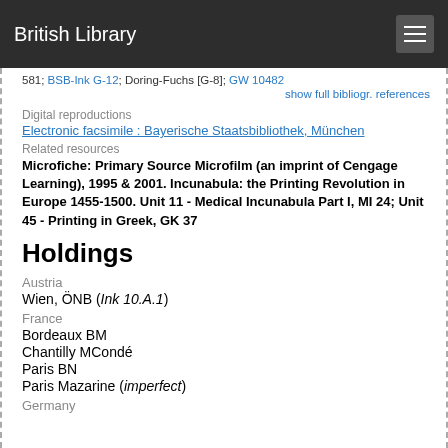British Library
581; BSB-Ink G-12; Doring-Fuchs [G-8]; GW 10482
show full bibliogr. references
Digital reproductions
Electronic facsimile : Bayerische Staatsbibliothek, München
Related resources
Microfiche: Primary Source Microfilm (an imprint of Cengage Learning), 1995 & 2001. Incunabula: the Printing Revolution in Europe 1455-1500. Unit 11 - Medical Incunabula Part I, MI 24; Unit 45 - Printing in Greek, GK 37
Holdings
Austria
Wien, ÖNB (Ink 10.A.1)
France
Bordeaux BM
Chantilly MCondé
Paris BN
Paris Mazarine (imperfect)
Germany